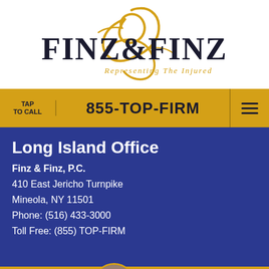[Figure (logo): Finz & Finz law firm logo with decorative gold script letter F and text 'FINZ & FINZ' in dark serif font, tagline 'Representing The Injured' in gold small caps]
TAP TO CALL
855-TOP-FIRM
Long Island Office
Finz & Finz, P.C.
410 East Jericho Turnpike
Mineola, NY 11501
Phone: (516) 433-3000
Toll Free: (855) TOP-FIRM
LIVE CHAT
TEXT US